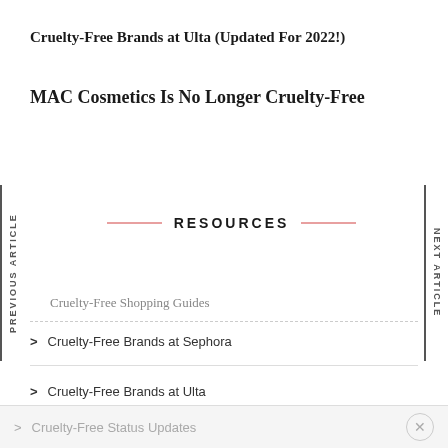Cruelty-Free Brands at Ulta (Updated For 2022!)
MAC Cosmetics Is No Longer Cruelty-Free
PREVIOUS ARTICLE
NEXT ARTICLE
RESOURCES
Cruelty-Free Shopping Guides
> Cruelty-Free Brands at Sephora
> Cruelty-Free Brands at Ulta
> Cruelty-Free Status Updates